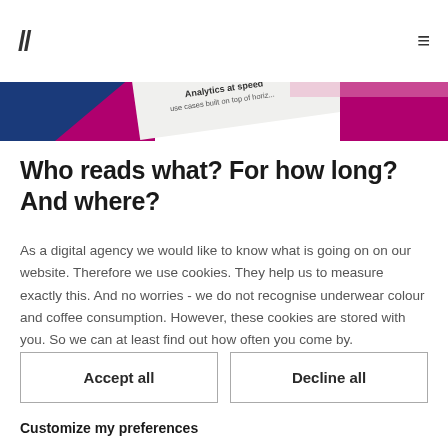// ☰
[Figure (photo): Hero image showing analytics product materials with text 'Analytics at speed' and 'use cases built on top of horiz...' on a white card, with blue and magenta/purple abstract shapes in background]
Who reads what? For how long? And where?
As a digital agency we would like to know what is going on on our website. Therefore we use cookies. They help us to measure exactly this. And no worries - we do not recognise underwear colour and coffee consumption. However, these cookies are stored with you. So we can at least find out how often you come by.
Accept all
Decline all
Customize my preferences